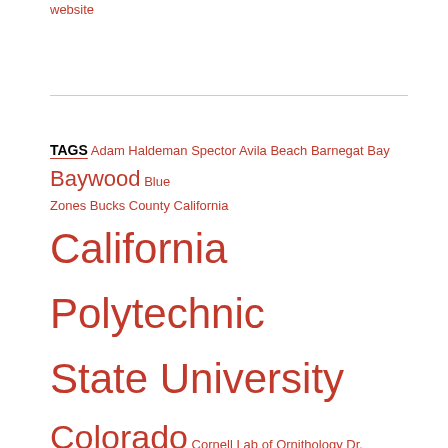website
TAGS Adam Haldeman Spector Avila Beach Barnegat Bay Baywood Blue Zones Bucks County California California Polytechnic State University Colorado Cornell Lab of Ornithology Dr. Barnard Dr. Caldwell Esselstyn Dr. Fuhrman Dr. Greger Dr. Klaper Dr. McDougall duck Dutchman's Seafood House eBird Essylstyn Farmers' Market Field Roast Sausages Forks Over Knives Goldhamer grapes Jane Esselstyn Joyce Cory Karl Sherman KCBX Leaning Pine Arboretum Los Osos McDougall Morro Bay Morro Bay Art Center Morro Bay State Park Marina Morro